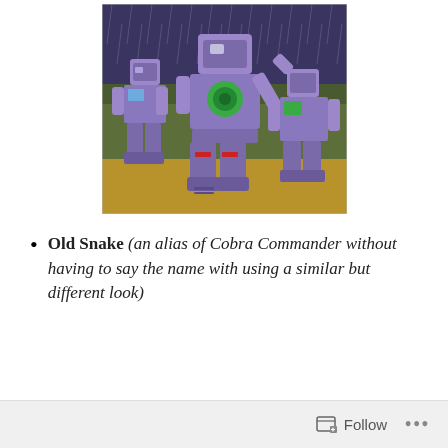[Figure (illustration): Animated cartoon scene showing three purple/lavender robot characters (resembling Transformers) standing in the rain. The central robot is taller with a green chest piece and is pointing. The background shows dark trees and a rainy sky.]
Old Snake (an alias of Cobra Commander without having to say the name with using a similar but different look)
Follow ...